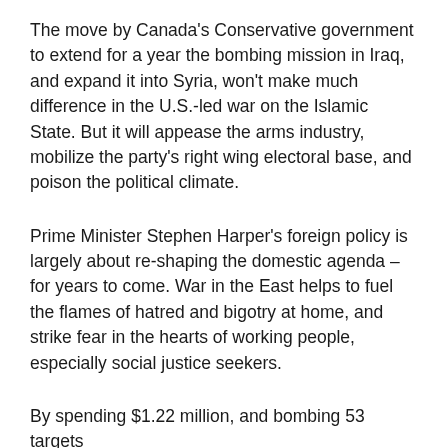The move by Canada's Conservative government to extend for a year the bombing mission in Iraq, and expand it into Syria, won't make much difference in the U.S.-led war on the Islamic State. But it will appease the arms industry, mobilize the party's right wing electoral base, and poison the political climate.
Prime Minister Stephen Harper's foreign policy is largely about re-shaping the domestic agenda – for years to come. War in the East helps to fuel the flames of hatred and bigotry at home, and strike fear in the hearts of working people, especially social justice seekers.
By spending $1.22 million, and bombing 53 targets